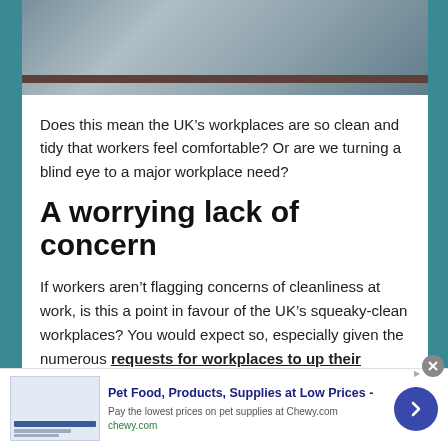[Figure (photo): Partial view of a desk or workplace surface with blurred objects in the background]
Does this mean the UK’s workplaces are so clean and tidy that workers feel comfortable? Or are we turning a blind eye to a major workplace need?
A worrying lack of concern
If workers aren’t flagging concerns of cleanliness at work, is this a point in favour of the UK’s squeaky-clean workplaces? You would expect so, especially given the numerous requests for workplaces to up their cleaning requirements to help combat COVID-19.
[Figure (illustration): Advertisement for Chewy.com: Pet Food, Products, Supplies at Low Prices. Pay the lowest prices on pet supplies at Chewy.com. chewy.com]